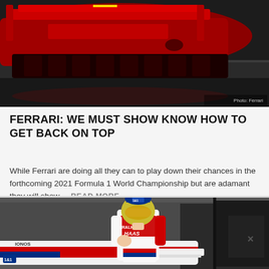[Figure (photo): Close-up photo of a red Ferrari Formula 1 car from the rear, showing the diffuser and rear wing, on a dark track surface. Photo credit: Ferrari]
FERRARI: WE MUST SHOW KNOW HOW TO GET BACK ON TOP
While Ferrari are doing all they can to play down their chances in the forthcoming 2021 Formula 1 World Championship but are adamant they will show ... READ MORE...
[Figure (photo): A Formula 1 driver in Haas/Uralkali livery (white and red racing suit with 1&1 sponsor) holding a helmet, posing in front of a white Haas F1 car in a pit garage setting.]